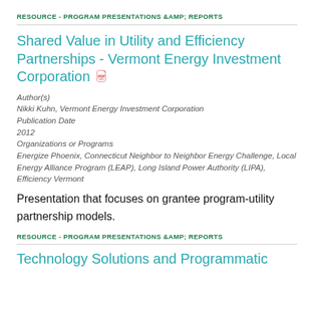RESOURCE - PROGRAM PRESENTATIONS &AMP; REPORTS
Shared Value in Utility and Efficiency Partnerships - Vermont Energy Investment Corporation
Author(s)
Nikki Kuhn, Vermont Energy Investment Corporation
Publication Date
2012
Organizations or Programs
Energize Phoenix, Connecticut Neighbor to Neighbor Energy Challenge, Local Energy Alliance Program (LEAP), Long Island Power Authority (LIPA), Efficiency Vermont
Presentation that focuses on grantee program-utility partnership models.
RESOURCE - PROGRAM PRESENTATIONS &AMP; REPORTS
Technology Solutions and Programmatic